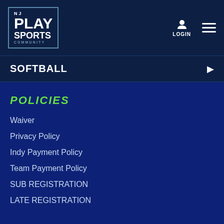[Figure (logo): NJ Play Sports Community logo — white text on dark navy background with border]
LOGIN | Menu
SOFTBALL
POLICIES
Waiver
Privacy Policy
Indy Payment Policy
Team Payment Policy
SUB REGISTRATION
LATE REGISTRATION
CORPORATE EVENTS
Team Building Activities